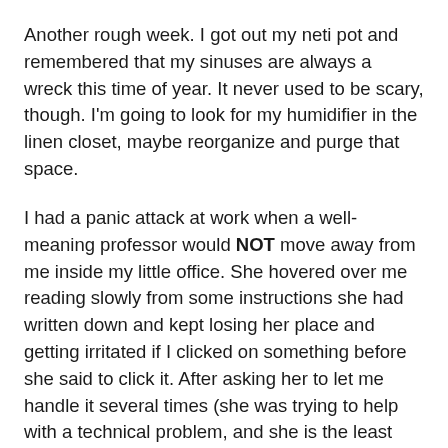Another rough week. I got out my neti pot and remembered that my sinuses are always a wreck this time of year. It never used to be scary, though. I'm going to look for my humidifier in the linen closet, maybe reorganize and purge that space.
I had a panic attack at work when a well-meaning professor would NOT move away from me inside my little office. She hovered over me reading slowly from some instructions she had written down and kept losing her place and getting irritated if I clicked on something before she said to click it. After asking her to let me handle it several times (she was trying to help with a technical problem, and she is the least technically literate person that you could ever imagine), I finally yelped, "Please, I canNOT breathe in this mask!" and she moved out to the hallway, and at that point I lost the